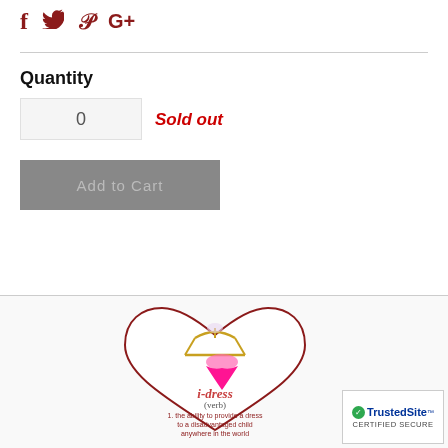[Figure (infographic): Social media share icons: Facebook (f), Twitter (bird), Pinterest (P), Google+ (G+) in dark red color]
Quantity
0
Sold out
Add to Cart
[Figure (logo): Heart-shaped logo with a pink dress on a hanger, text: i-dress (verb) 1. the ability to provide a dress to a disadvantaged child anywhere in the world]
[Figure (logo): TrustedSite CERTIFIED SECURE badge with green checkmark]